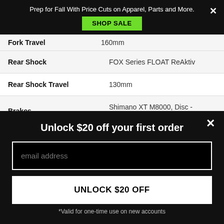Prep for Fall With Price Cuts on Apparel, Parts and More. SHOP SALE
| Spec | Value |
| --- | --- |
| Fork Travel | 160mm |
| Rear Shock | FOX Series FLOAT ReAktiv |
| Rear Shock Travel | 130mm |
| Brakes | Shimano XT M8000, Disc - Hydraulic |
|  | Shimano XT M8000 |
Unlock $20 off your first order
email address
UNLOCK $20 OFF
*Valid for one-time use on new accounts